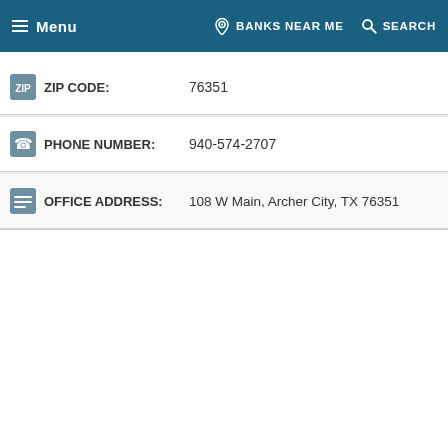Menu | BANKS NEAR ME | SEARCH
ZIP CODE: 76351
PHONE NUMBER: 940-574-2707
OFFICE ADDRESS: 108 W Main, Archer City, TX 76351